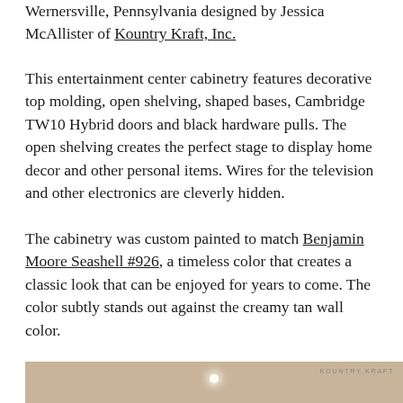Wernersville, Pennsylvania designed by Jessica McAllister of Kountry Kraft, Inc.
This entertainment center cabinetry features decorative top molding, open shelving, shaped bases, Cambridge TW10 Hybrid doors and black hardware pulls. The open shelving creates the perfect stage to display home decor and other personal items. Wires for the television and other electronics are cleverly hidden.
The cabinetry was custom painted to match Benjamin Moore Seashell #926, a timeless color that creates a classic look that can be enjoyed for years to come. The color subtly stands out against the creamy tan wall color.
[Figure (photo): Partial view of custom entertainment center cabinetry with KOUNTRY KRAFT watermark in upper right corner]